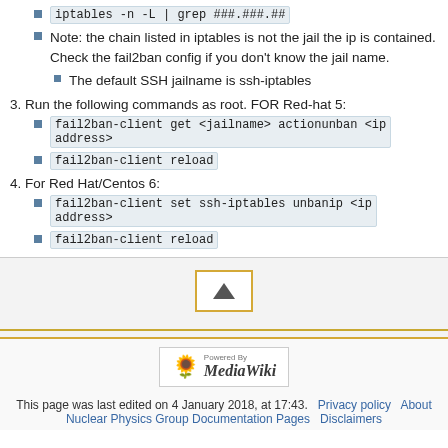iptables -n -L | grep ###.###.##
Note: the chain listed in iptables is not the jail the ip is contained. Check the fail2ban config if you don't know the jail name.
The default SSH jailname is ssh-iptables
3. Run the following commands as root. FOR Red-hat 5:
fail2ban-client get <jailname> actionunban <ip address>
fail2ban-client reload
4. For Red Hat/Centos 6:
fail2ban-client set ssh-iptables unbanip <ip address>
fail2ban-client reload
[Figure (other): Scroll to top button with upward triangle arrow icon, bordered in gold/yellow]
[Figure (logo): Powered by MediaWiki logo with sunflower icon]
This page was last edited on 4 January 2018, at 17:43.   Privacy policy   About   Nuclear Physics Group Documentation Pages   Disclaimers